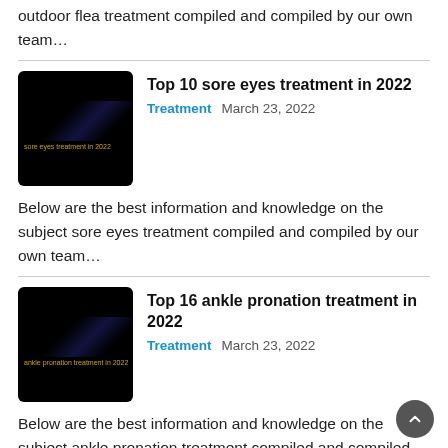Below are the best information and knowledge on the subject outdoor flea treatment compiled and compiled by our own team…
Top 10 sore eyes treatment in 2022
Treatment   March 23, 2022
Below are the best information and knowledge on the subject sore eyes treatment compiled and compiled by our own team…
Top 16 ankle pronation treatment in 2022
Treatment   March 23, 2022
Below are the best information and knowledge on the subject ankle pronation treatment compiled and compiled by our own team…